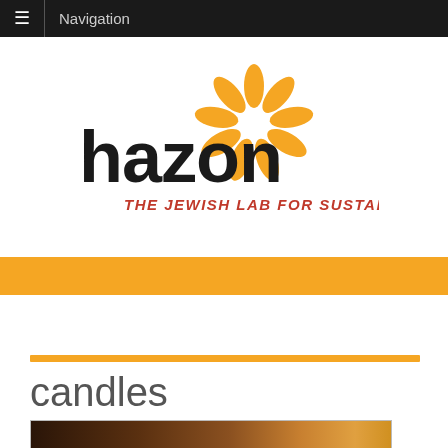Navigation
[Figure (logo): Hazon logo — bold black lowercase 'hazon' text with a yellow sunflower/daisy graphic above and to the right, and red italic subtitle 'THE JEWISH LAB FOR SUSTAINABILITY']
candles
[Figure (photo): Dark photograph showing candles with warm orange/amber lighting, partially visible at bottom of page]